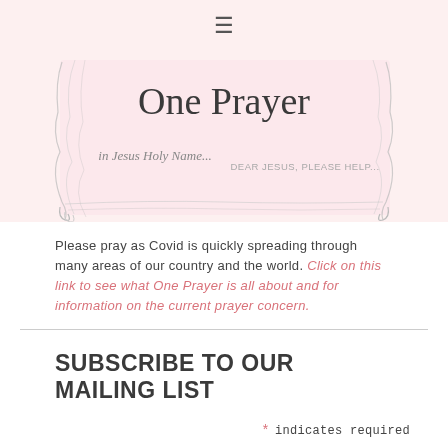≡
[Figure (illustration): Decorative image with hand-lettered text reading 'One Prayer', 'in Jesus Holy Name...' and 'DEAR JESUS, PLEASE HELP...' surrounded by sketchy vine/wire border lines on a pink background]
Please pray as Covid is quickly spreading through many areas of our country and the world. Click on this link to see what One Prayer is all about and for information on the current prayer concern.
SUBSCRIBE TO OUR MAILING LIST
* indicates required